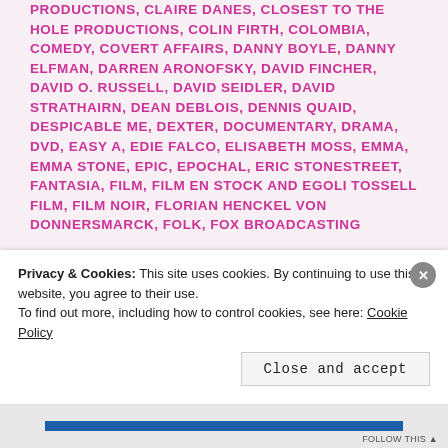PRODUCTIONS, CLAIRE DANES, CLOSEST TO THE HOLE PRODUCTIONS, COLIN FIRTH, COLOMBIA, COMEDY, COVERT AFFAIRS, DANNY BOYLE, DANNY ELFMAN, DARREN ARONOFSKY, DAVID FINCHER, DAVID O. RUSSELL, DAVID SEIDLER, DAVID STRATHAIRN, DEAN DEBLOIS, DENNIS QUAID, DESPICABLE ME, DEXTER, DOCUMENTARY, DRAMA, DVD, EASY A, EDIE FALCO, ELISABETH MOSS, EMMA, EMMA STONE, EPIC, EPOCHAL, ERIC STONESTREET, FANTASIA, FILM, FILM EN STOCK AND EGOLI TOSSELL FILM, FILM NOIR, FLORIAN HENCKEL VON DONNERSMARCK, FOLK, FOX BROADCASTING
Privacy & Cookies: This site uses cookies. By continuing to use this website, you agree to their use.
To find out more, including how to control cookies, see here: Cookie Policy
Close and accept